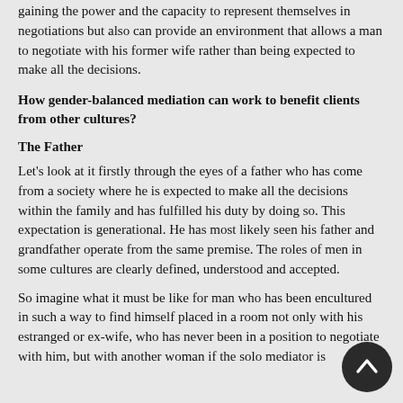gaining the power and the capacity to represent themselves in negotiations but also can provide an environment that allows a man to negotiate with his former wife rather than being expected to make all the decisions.
How gender-balanced mediation can work to benefit clients from other cultures?
The Father
Let's look at it firstly through the eyes of a father who has come from a society where he is expected to make all the decisions within the family and has fulfilled his duty by doing so. This expectation is generational. He has most likely seen his father and grandfather operate from the same premise. The roles of men in some cultures are clearly defined, understood and accepted.
So imagine what it must be like for man who has been encultured in such a way to find himself placed in a room not only with his estranged or ex-wife, who has never been in a position to negotiate with him, but with another woman if the solo mediator is